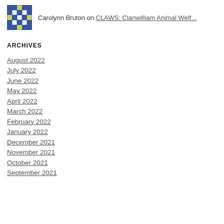[Figure (logo): Pixelated avatar icon with blue and yellow/green squares in a grid pattern]
Carolynn Bruton on CLAWS: Clanwilliam Animal Welf...
ARCHIVES
August 2022
July 2022
June 2022
May 2022
April 2022
March 2022
February 2022
January 2022
December 2021
November 2021
October 2021
September 2021